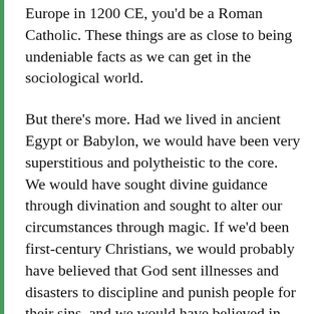Europe in 1200 CE, you'd be a Roman Catholic. These things are as close to being undeniable facts as we can get in the sociological world.
But there's more. Had we lived in ancient Egypt or Babylon, we would have been very superstitious and polytheistic to the core. We would have sought divine guidance through divination and sought to alter our circumstances through magic. If we'd been first-century Christians, we would probably have believed that God sent illnesses and disasters to discipline and punish people for their sins, and we would have believed in what has come to be called the ransom theory of Jesus' atonement. Had we been Christians in Europe during the Middle Ages, we would